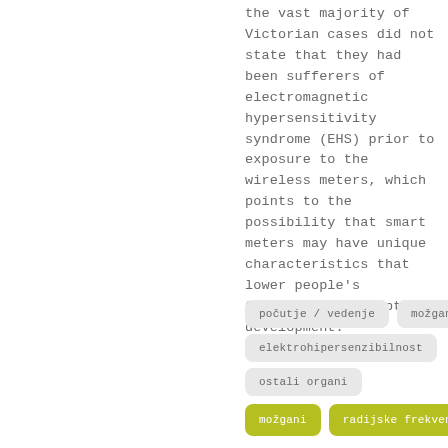the vast majority of Victorian cases did not state that they had been sufferers of electromagnetic hypersensitivity syndrome (EHS) prior to exposure to the wireless meters, which points to the possibility that smart meters may have unique characteristics that lower people's threshold for symptom development."
počutje / vedenje
možgani / živčevje
elektrohipersenzibilnost
ostali organi
možgani
radijske frekvence (RF)